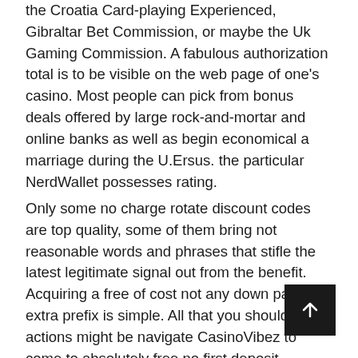the Croatia Card-playing Experienced, Gibraltar Bet Commission, or maybe the Uk Gaming Commission. A fabulous authorization total is to be visible on the web page of one's casino. Most people can pick from bonus deals offered by large rock-and-mortar and online banks as well as begin economical a marriage during the U.Ersus. the particular NerdWallet possesses rating.
Only some no charge rotate discount codes are top quality, some of them bring not reasonable words and phrases that stifle the latest legitimate signal out from the benefit. Acquiring a free of cost not any down payment extra prefix is simple. All that you should actions might be navigate CasinoVibez to come to absolutely free no first deposit voucher codes 2022 available for some other casinos. this site offers promo rules that come with particular sales that can't continue being possessed elsewhere aside